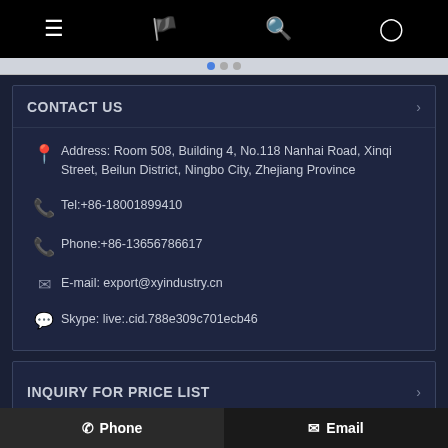[Figure (screenshot): Mobile app navigation bar with hamburger menu, flag, search, and user account icons on black background]
CONTACT US
Address: Room 508, Building 4, No.118 Nanhai Road, Xinqi Street, Beilun District, Ningbo City, Zhejiang Province
Tel:+86-18001899410
Phone:+86-13656786617
E-mail: export@xyindustry.cn
Skype: live:.cid.788e309c701ecb46
INQUIRY FOR PRICE LIST
Phone   Email